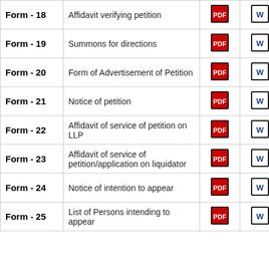| Form | Description | PDF | Word | Excel |
| --- | --- | --- | --- | --- |
| Form - 18 | Affidavit verifying petition | [PDF] | [W] | [XL] |
| Form - 19 | Summons for directions | [PDF] | [W] | [XL] |
| Form - 20 | Form of Advertisement of Petition | [PDF] | [W] | [XL] |
| Form - 21 | Notice of petition | [PDF] | [W] | [XL] |
| Form - 22 | Affidavit of service of petition on LLP | [PDF] | [W] | [XL] |
| Form - 23 | Affidavit of service of petition/application on liquidator | [PDF] | [W] | [XL] |
| Form - 24 | Notice of intention to appear | [PDF] | [W] | [XL] |
| Form - 25 | List of Persons intending to appear | [PDF] | [W] | [XL] |